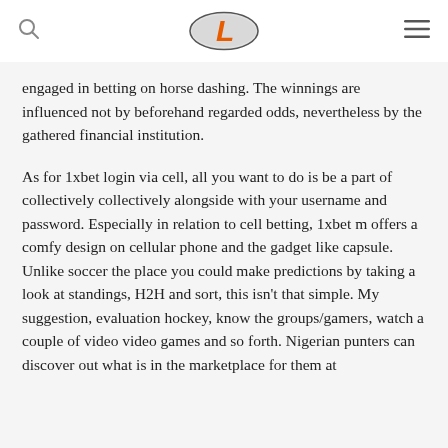[Logo: L] [Search icon] [Menu icon]
engaged in betting on horse dashing. The winnings are influenced not by beforehand regarded odds, nevertheless by the gathered financial institution.
As for 1xbet login via cell, all you want to do is be a part of collectively collectively alongside with your username and password. Especially in relation to cell betting, 1xbet m offers a comfy design on cellular phone and the gadget like capsule. Unlike soccer the place you could make predictions by taking a look at standings, H2H and sort, this isn't that simple. My suggestion, evaluation hockey, know the groups/gamers, watch a couple of video video games and so forth. Nigerian punters can discover out what is in the marketplace for them at